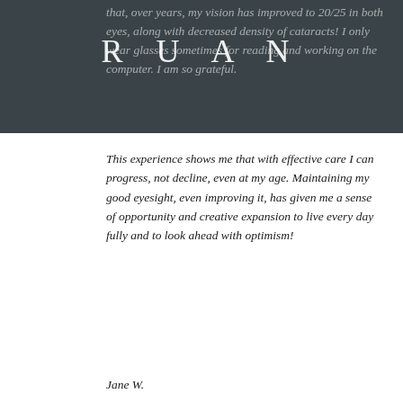that, over years, my vision has improved to 20/25 in both eyes, along with decreased density of cataracts! I only wear glasses sometimes for reading and working on the computer. I am so grateful.
[Figure (logo): RUAN text logo overlaid on dark header bar]
This experience shows me that with effective care I can progress, not decline, even at my age. Maintaining my good eyesight, even improving it, has given me a sense of opportunity and creative expansion to live every day fully and to look ahead with optimism!
Jane W.
Dr. Marc Grossman, leading holistic optometrist